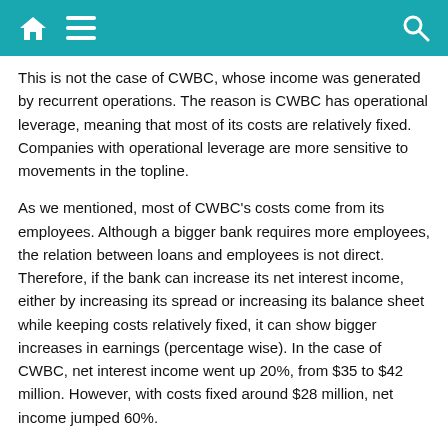Navigation bar with home, menu, and search icons
This is not the case of CWBC, whose income was generated by recurrent operations. The reason is CWBC has operational leverage, meaning that most of its costs are relatively fixed. Companies with operational leverage are more sensitive to movements in the topline.
As we mentioned, most of CWBC's costs come from its employees. Although a bigger bank requires more employees, the relation between loans and employees is not direct. Therefore, if the bank can increase its net interest income, either by increasing its spread or increasing its balance sheet while keeping costs relatively fixed, it can show bigger increases in earnings (percentage wise). In the case of CWBC, net interest income went up 20%, from $35 to $42 million. However, with costs fixed around $28 million, net income jumped 60%.
Inversely, that means that CWBC is sensitive to reductions in its net interest income. If interest rates go down by 10%, net income...